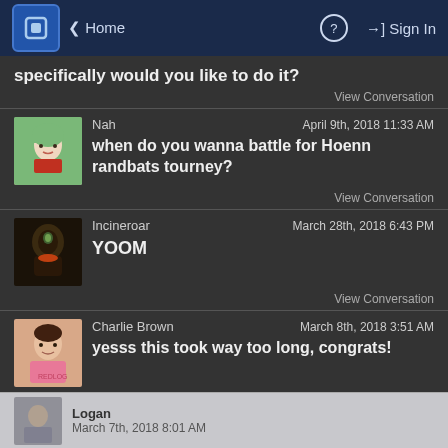Home | ? | Sign In
specifically would you like to do it?
View Conversation
Nah — April 9th, 2018 11:33 AM — when do you wanna battle for Hoenn randbats tourney?
View Conversation
Incineroar — March 28th, 2018 6:43 PM — YOOM
View Conversation
Charlie Brown — March 8th, 2018 3:51 AM — yesss this took way too long, congrats!
View Conversation
Logan — March 7th, 2018 8:01 AM